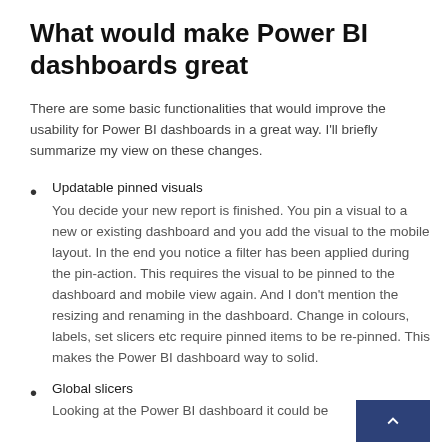What would make Power BI dashboards great
There are some basic functionalities that would improve the usability for Power BI dashboards in a great way. I'll briefly summarize my view on these changes.
Updatable pinned visuals
You decide your new report is finished. You pin a visual to a new or existing dashboard and you add the visual to the mobile layout. In the end you notice a filter has been applied during the pin-action. This requires the visual to be pinned to the dashboard and mobile view again. And I don't mention the resizing and renaming in the dashboard. Change in colours, labels, set slicers etc require pinned items to be re-pinned. This makes the Power BI dashboard way to solid.
Global slicers
Looking at the Power BI dashboard it could be [...]ral